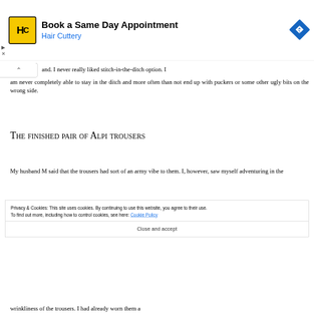[Figure (screenshot): Advertisement banner for Hair Cuttery showing logo, 'Book a Same Day Appointment' text, and a blue navigation arrow icon]
and. I never really liked stitch-in-the-ditch option. I am never completely able to stay in the ditch and more often than not end up with puckers or some other ugly bits on the wrong side.
The finished pair of Alpi trousers
My husband M said that the trousers had sort of an army vibe to them. I, however, saw myself adventuring in the
Privacy & Cookies: This site uses cookies. By continuing to use this website, you agree to their use.
To find out more, including how to control cookies, see here: Cookie Policy
Close and accept
wrinkliness of the trousers. I had already worn them a